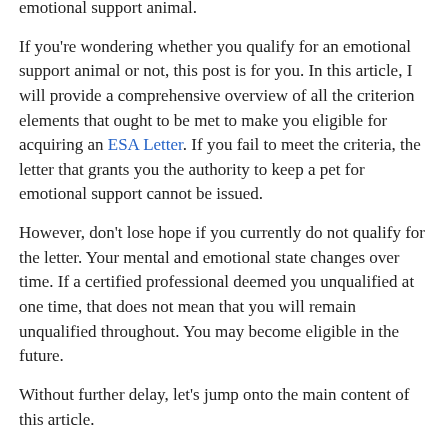emotional support animal.
If you're wondering whether you qualify for an emotional support animal or not, this post is for you. In this article, I will provide a comprehensive overview of all the criterion elements that ought to be met to make you eligible for acquiring an ESA Letter. If you fail to meet the criteria, the letter that grants you the authority to keep a pet for emotional support cannot be issued.
However, don't lose hope if you currently do not qualify for the letter. Your mental and emotional state changes over time. If a certified professional deemed you unqualified at one time, that does not mean that you will remain unqualified throughout. You may become eligible in the future.
Without further delay, let's jump onto the main content of this article.